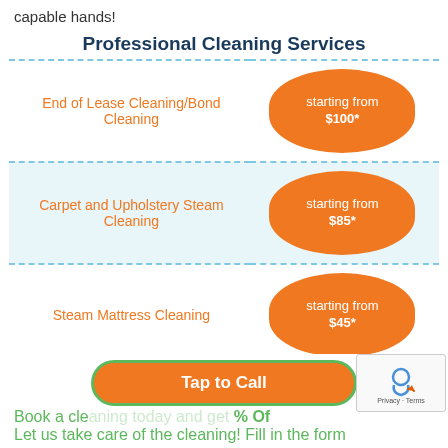capable hands!
Professional Cleaning Services
| Service | Price |
| --- | --- |
| End of Lease Cleaning/Bond Cleaning | starting from $100* |
| Carpet and Upholstery Steam Cleaning | starting from $85* |
| Steam Mattress Cleaning | starting from $45* |
| Gardening Services | starting from $90* |
Tap to Call
Book a cle...% Of
Let us take care of the cleaning! Fill in the form